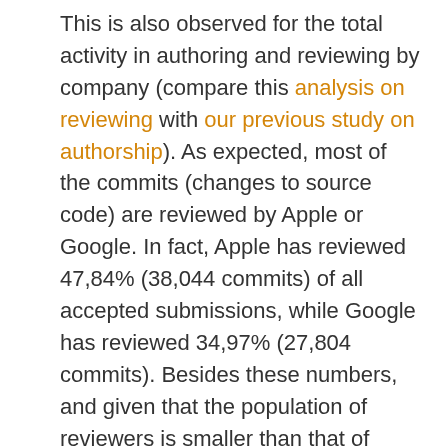This is also observed for the total activity in authoring and reviewing by company (compare this analysis on reviewing with our previous study on authorship). As expected, most of the commits (changes to source code) are reviewed by Apple or Google. In fact, Apple has reviewed 47,84% (38,044 commits) of all accepted submissions, while Google has reviewed 34,97% (27,804 commits). Besides these numbers, and given that the population of reviewers is smaller than that of authors, the number of companies with reviewers is also smaller. 39 Companies have been detected to participate in the Webkit project with at least one accepted and reviewed patch. But only 17 of them also have at least one reviewer. The aggregated share of reviews by Apple and Google (about 83%) is larger than the large amounts of the...